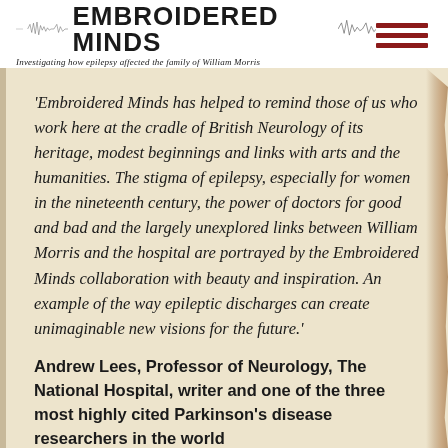EMBROIDERED MINDS — Investigating how epilepsy affected the family of William Morris
'Embroidered Minds has helped to remind those of us who work here at the cradle of British Neurology of its heritage, modest beginnings and links with arts and the humanities. The stigma of epilepsy, especially for women in the nineteenth century, the power of doctors for good and bad and the largely unexplored links between William Morris and the hospital are portrayed by the Embroidered Minds collaboration with beauty and inspiration. An example of the way epileptic discharges can create unimaginable new visions for the future.'
Andrew Lees, Professor of Neurology, The National Hospital, writer and one of the three most highly cited Parkinson's disease researchers in the world